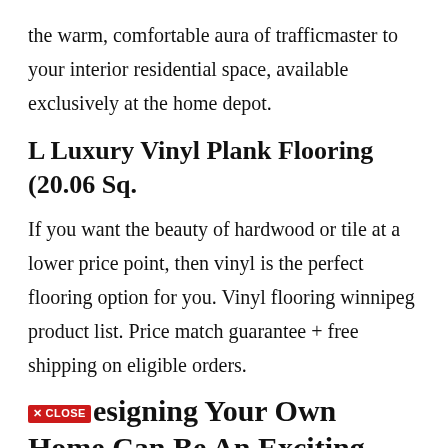the warm, comfortable aura of trafficmaster to your interior residential space, available exclusively at the home depot.
L Luxury Vinyl Plank Flooring (20.06 Sq.
If you want the beauty of hardwood or tile at a lower price point, then vinyl is the perfect flooring option for you. Vinyl flooring winnipeg product list. Price match guarantee + free shipping on eligible orders.
Designing Your Own Home Can Be An Exciting Project, And You Might Be Full Of Enthusiasm To Get Started.
/ case) and trafficmaster cherry 6 in. We have a